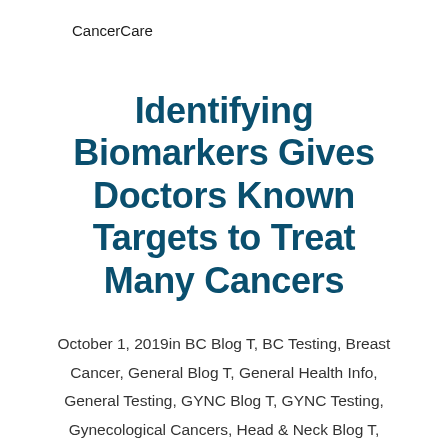CancerCare
Identifying Biomarkers Gives Doctors Known Targets to Treat Many Cancers
October 1, 2019in BC Blog T, BC Testing, Breast Cancer, General Blog T, General Health Info, General Testing, GYNC Blog T, GYNC Testing, Gynecological Cancers, Head & Neck Blog T, Head & Neck Cancer, Head & Neck Cancer Testing  / by PEN Editorial Staff